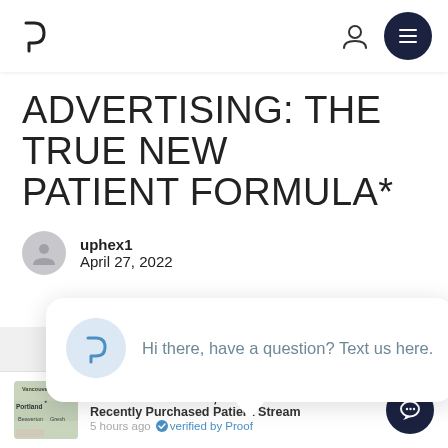[Figure (screenshot): Navigation bar with a P logo on the left, a user icon and dark circular menu button on the right]
ADVERTISING: THE TRUE NEW PATIENT FORMULA*
uphex1
April 27, 2022
close
[Figure (screenshot): Chat bubble popup with P logo circle and text: Hi there, have a question? Text us here.]
Ask Th
[Figure (screenshot): Notification bar showing: Tal from Portland, OR - Recently Purchased Patient Stream - 5 hours ago - verified by Proof, with a Portland map thumbnail and chat button]